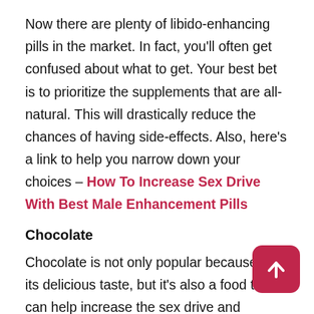Now there are plenty of libido-enhancing pills in the market. In fact, you'll often get confused about what to get. Your best bet is to prioritize the supplements that are all-natural. This will drastically reduce the chances of having side-effects. Also, here's a link to help you narrow down your choices – How To Increase Sex Drive With Best Male Enhancement Pills
Chocolate
Chocolate is not only popular because of its delicious taste, but it's also a food that can help increase the sex drive and performance. The reason for this is because chocolate stimulates the release of...